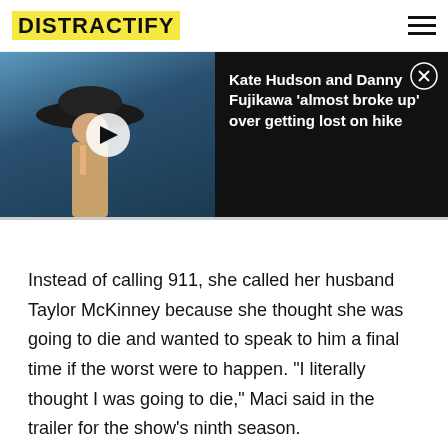DISTRACTIFY
[Figure (screenshot): Video player thumbnail showing a woman in a wide-brim hat near water, with a play button overlay. Adjacent black panel with text: Kate Hudson and Danny Fujikawa 'almost broke up' over getting lost on hike, and a close (X) button.]
Instead of calling 911, she called her husband Taylor McKinney because she thought she was going to die and wanted to speak to him a final time if the worst were to happen. "I literally thought I was going to die," Maci said in the trailer for the show's ninth season.